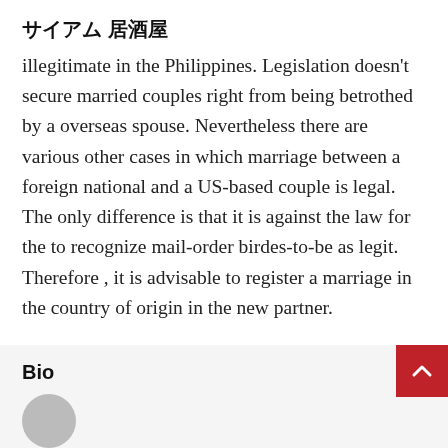サイアム 居酒屋
illegitimate in the Philippines. Legislation doesn't secure married couples right from being betrothed by a overseas spouse. Nevertheless there are various other cases in which marriage between a foreign national and a US-based couple is legal. The only difference is that it is against the law for the to recognize mail-order birdes-to-be as legit. Therefore , it is advisable to register a marriage in the country of origin in the new partner.
Bio